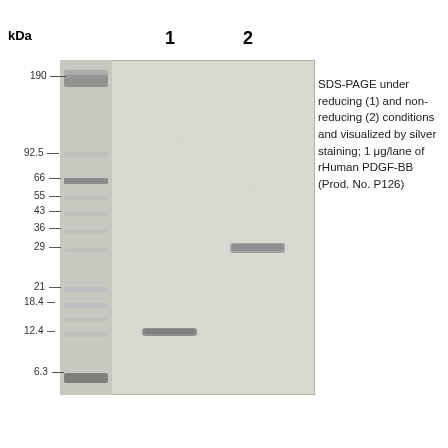[Figure (other): SDS-PAGE gel image showing protein ladder in leftmost lane, a band at ~12.4 kDa in lane 1 (reducing conditions), and a band at ~29 kDa in lane 2 (non-reducing conditions). Molecular weight markers on left side range from 6.3 to 190 kDa. Lane numbers 1 and 2 labeled at top.]
SDS-PAGE under reducing (1) and non-reducing (2) conditions and visualized by silver staining; 1 μg/lane of rHuman PDGF-BB (Prod. No. P126)